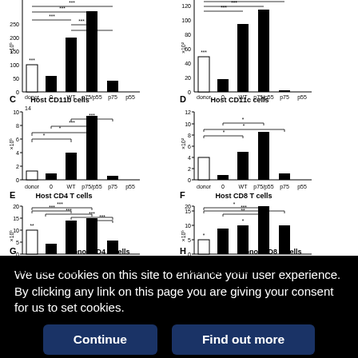[Figure (bar-chart): Host CD11b cells]
[Figure (bar-chart): Host CD11c cells]
[Figure (bar-chart): Host CD4 T cells]
[Figure (bar-chart): Host CD8 T cells]
G  Donor CD4 T cells
H  Donor CD8 T cells
We use cookies on this site to enhance your user experience. By clicking any link on this page you are giving your consent for us to set cookies.